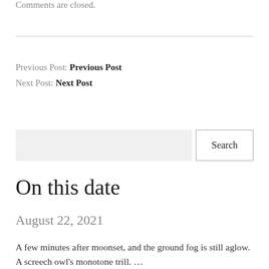Comments are closed.
Previous Post: Previous Post
Next Post: Next Post
On this date
August 22, 2021
A few minutes after moonset, and the ground fog is still aglow. A screech owl's monotone trill. …